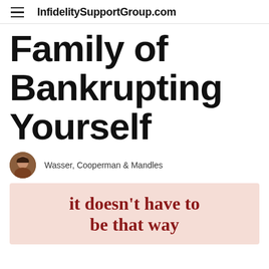InfidelitySupportGroup.com
Family of Bankrupting Yourself
Wasser, Cooperman & Mandles
[Figure (illustration): Promotional book/article image with pink/salmon background and dark red text reading 'it doesn't have to be that way']